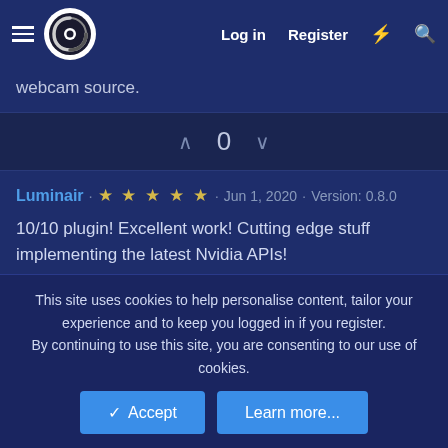Log in  Register
webcam source.
0
Luminair · ★★★★★ · Jun 1, 2020 · Version: 0.8.0
10/10 plugin! Excellent work! Cutting edge stuff implementing the latest Nvidia APIs!
0
This site uses cookies to help personalise content, tailor your experience and to keep you logged in if you register.
By continuing to use this site, you are consenting to our use of cookies.